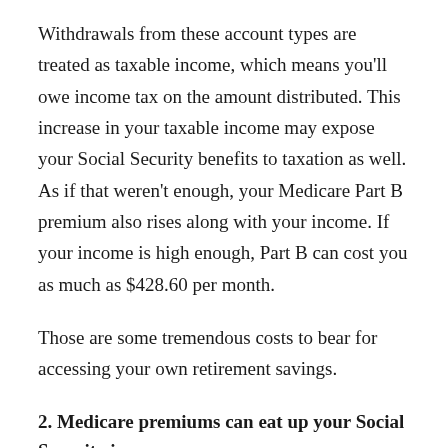Withdrawals from these account types are treated as taxable income, which means you'll owe income tax on the amount distributed. This increase in your taxable income may expose your Social Security benefits to taxation as well. As if that weren't enough, your Medicare Part B premium also rises along with your income. If your income is high enough, Part B can cost you as much as $428.60 per month.
Those are some tremendous costs to bear for accessing your own retirement savings.
2. Medicare premiums can eat up your Social Security increase